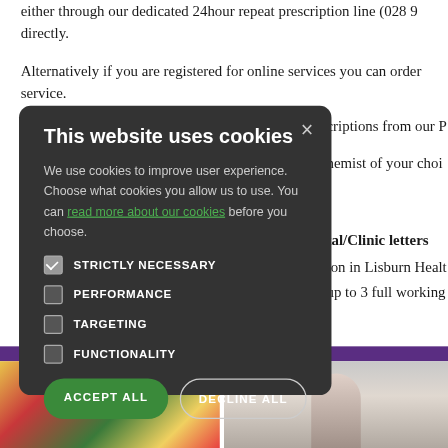either through our dedicated 24hour repeat prescription line (028 9… directly.
Alternatively if you are registered for online services you can order… service.
…criptions from our P…
…hemist of your choi…
….
…tal/Clinic letters
…ion in Lisburn Healt…
…up to 3 full working…
[Figure (screenshot): Cookie consent modal dialog on a medical website. Dark grey rounded rectangle containing: title 'This website uses cookies', body text about cookie usage with a green hyperlink 'read more about our cookies', four cookie options (Strictly Necessary checked, Performance unchecked, Targeting unchecked, Functionality unchecked), and two buttons: green 'ACCEPT ALL' and outlined 'DECLINE ALL'. An X close button is in the top right corner.]
[Figure (photo): Two partial photos at bottom: left shows colorful pills/candy, right shows a person.]